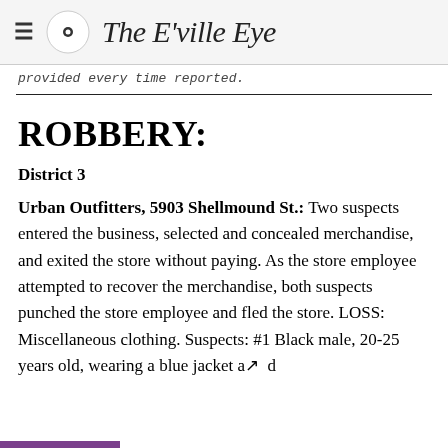≡ The E'ville Eye
provided every time reported.
ROBBERY:
District 3
Urban Outfitters, 5903 Shellmound St.: Two suspects entered the business, selected and concealed merchandise, and exited the store without paying. As the store employee attempted to recover the merchandise, both suspects punched the store employee and fled the store. LOSS: Miscellaneous clothing. Suspects: #1 Black male, 20-25 years old, wearing a blue jacket and